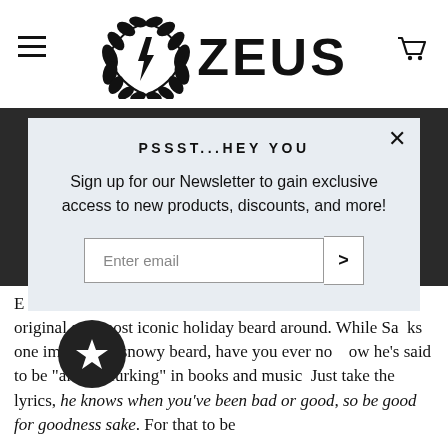[Figure (logo): Zeus brand logo with laurel wreath and lightning bolt, large bold ZEUS text]
PSSST...HEY YOU
Sign up for our Newsletter to gain exclusive access to new products, discounts, and more!
Enter email
E original and most iconic holiday beard around. While Sa ks one impressive snowy beard, have you ever no ow he's said to be "always lurking" in books and music? Just take the lyrics, he knows when you've been bad or good, so be good for goodness sake. For that to be